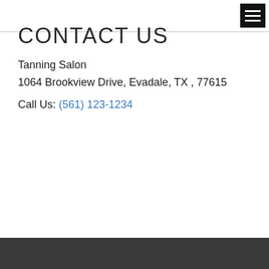CONTACT US
Tanning Salon
1064 Brookview Drive, Evadale, TX , 77615
Call Us: (561) 123-1234